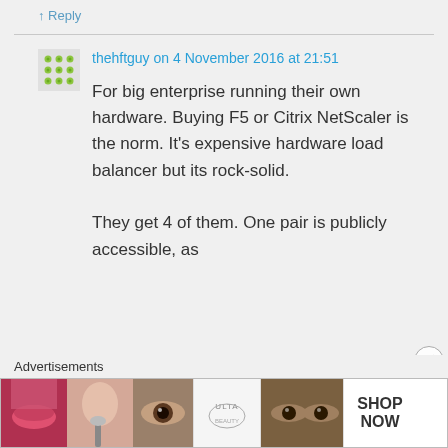↑ Reply
thehftguy on 4 November 2016 at 21:51
For big enterprise running their own hardware. Buying F5 or Citrix NetScaler is the norm. It's expensive hardware load balancer but its rock-solid.

They get 4 of them. One pair is publicly accessible, as
Advertisements
[Figure (photo): Advertisement banner showing makeup/beauty products with ULTA logo and SHOP NOW text]